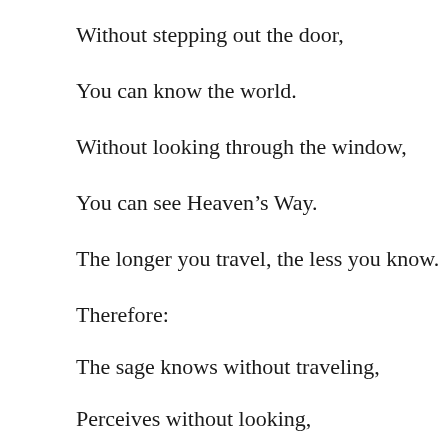Without stepping out the door,
You can know the world.
Without looking through the window,
You can see Heaven’s Way.
The longer you travel, the less you know.
Therefore:
The sage knows without traveling,
Perceives without looking,